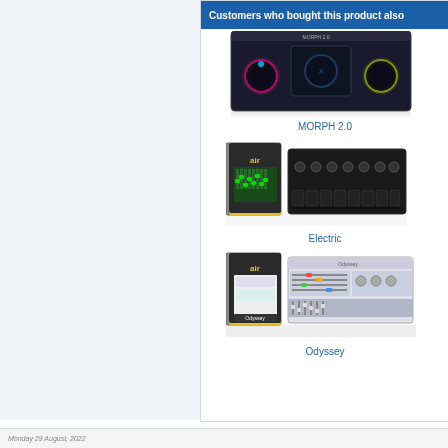Customers who bought this product also
[Figure (screenshot): MORPH 2.0 software product image - a DJ/synthesizer plugin interface with dark background and colorful dials]
MORPH 2.0
[Figure (screenshot): Electric software product image - AIR Music Technology box and plugin controller interface with dark keys]
Electric
[Figure (screenshot): Odyssey software product image - AIR Music Technology box and Odyssey synthesizer plugin interface]
Odyssey
Monday 29 August, 2022